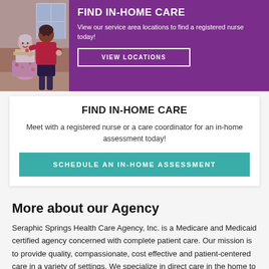[Figure (photo): Photo of a caregiver in red top assisting an elderly woman seated, with a tray of food, in a home setting]
FIND IN-HOME CARE
View our service area locations to find a registered nurse today!
VIEW LOCATIONS
FIND IN-HOME CARE
Meet with a registered nurse or a care coordinator for an in-home assessment today!
SCHEDULE AN IN-HOME ASSESSMENT
More about our Agency
Seraphic Springs Health Care Agency, Inc. is a Medicare and Medicaid certified agency concerned with complete patient care. Our mission is to provide quality, compassionate, cost effective and patient-centered care in a variety of settings. We specialize in direct care in the home to